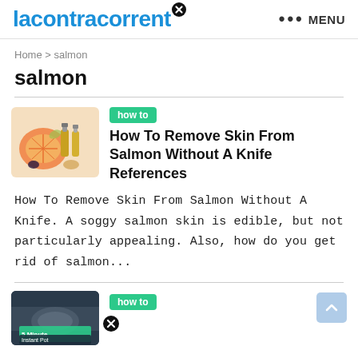lacontracorrent  ••• MENU
Home > salmon
salmon
[Figure (illustration): Thumbnail image of citrus fruits, essential oils, and spices]
how to
How To Remove Skin From Salmon Without A Knife References
How To Remove Skin From Salmon Without A Knife. A soggy salmon skin is edible, but not particularly appealing. Also, how do you get rid of salmon...
[Figure (photo): Thumbnail image with text '5 Minute Instant Pot']
how to